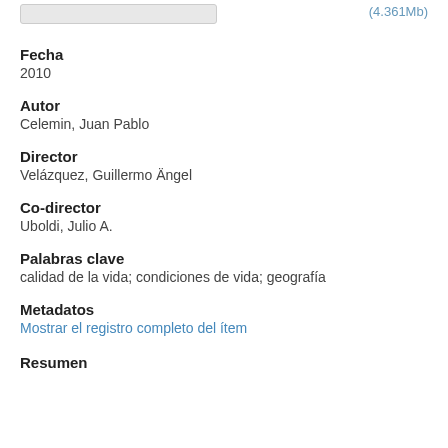(4.361Mb)
Fecha
2010
Autor
Celemin, Juan Pablo
Director
Velázquez, Guillermo Ängel
Co-director
Uboldi, Julio A.
Palabras clave
calidad de la vida; condiciones de vida; geografía
Metadatos
Mostrar el registro completo del ítem
Resumen